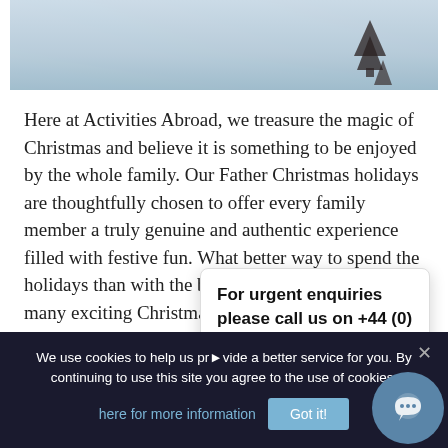[Figure (photo): Snowy winter landscape with a dark figure/tree in the upper right, soft blue-grey tones]
Here at Activities Abroad, we treasure the magic of Christmas and believe it is something to be enjoyed by the whole family. Our Father Christmas holidays are thoughtfully chosen to offer every family member a truly genuine and authentic experience filled with festive fun. What better way to spend the holidays than with the big man himself? With so many exciting Christmas trips on offer, we can help you choose the perfect fit for you and your family.
Our Father Christmas
For urgent enquiries please call us on +44 (0) 1670 785 049
We use cookies to help us provide a better service for you. By continuing to use this site you agree to the use of cookies. click here for more information
Got it!